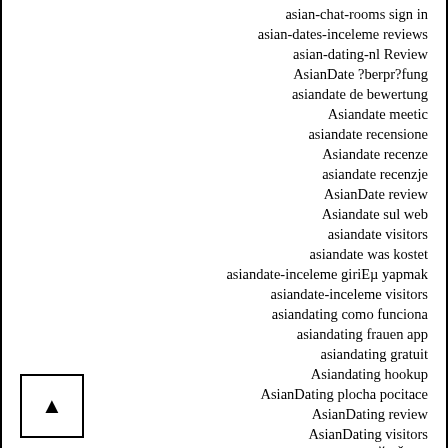asian-chat-rooms sign in
asian-dates-inceleme reviews
asian-dating-nl Review
AsianDate ?berpr?fung
asiandate de bewertung
Asiandate meetic
asiandate recensione
Asiandate recenze
asiandate recenzje
AsianDate review
Asiandate sul web
asiandate visitors
asiandate was kostet
asiandate-inceleme giriEµ yapmak
asiandate-inceleme visitors
asiandating como funciona
asiandating frauen app
asiandating gratuit
Asiandating hookup
AsianDating plocha pocitace
AsianDating review
AsianDating visitors
asiandating-recenze PE™ihlГЎEŇenГ
asiatische-dating-sites kosten
asijske-seznamka Seznamka
aspergers-dating mobile
aspergers-dating review